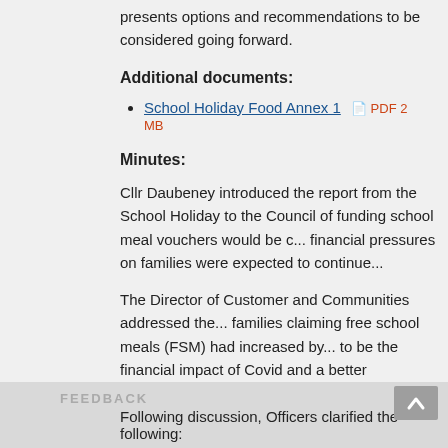presents options and recommendations to be considered going forward.
Additional documents:
School Holiday Food Annex 1  PDF 2 MB
Minutes:
Cllr Daubeney introduced the report from the School Ho... to the Council of funding school meal vouchers would be ... financial pressures on families were expected to continue...
The Director of Customer and Communities addressed th... families claiming free school meals (FSM) had increased b... to be the financial impact of Covid and a better understan... claim.  The council was seeking a wraparound solution tha... to come out of poverty.
Following discussion, Officers clarified the following: